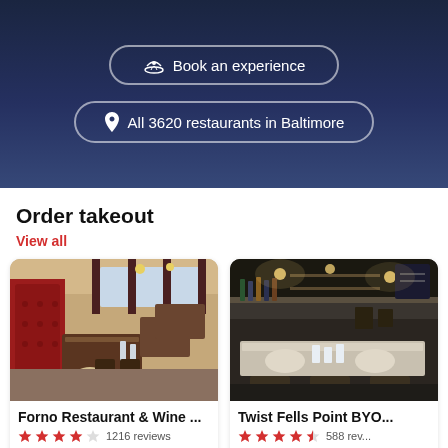Book an experience
All 3620 restaurants in Baltimore
Order takeout
View all
[Figure (photo): Interior of Forno Restaurant & Wine Bar showing red tufted booth seating and wooden tables]
Forno Restaurant & Wine ...
★★★★☆ 1216 reviews
Contemporary Italian • $$$$  • Do...
[Figure (photo): Interior of Twist Fells Point BYOB showing dark industrial style bar and dining area]
Twist Fells Point BYO...
★★★★½ 588 reviews
Mediterranean • $$$$  • F...